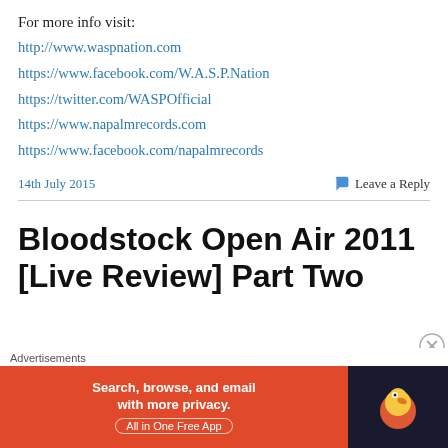For more info visit:
http://www.waspnation.com
https://www.facebook.com/W.A.S.P.Nation
https://twitter.com/WASPOfficial
https://www.napalmrecords.com
https://www.facebook.com/napalmrecords
14th July 2015
Leave a Reply
Bloodstock Open Air 2011 [Live Review] Part Two
[Figure (other): DuckDuckGo advertisement banner: orange background on left with text 'Search, browse, and email with more privacy. All in One Free App', dark background on right with DuckDuckGo duck logo.]